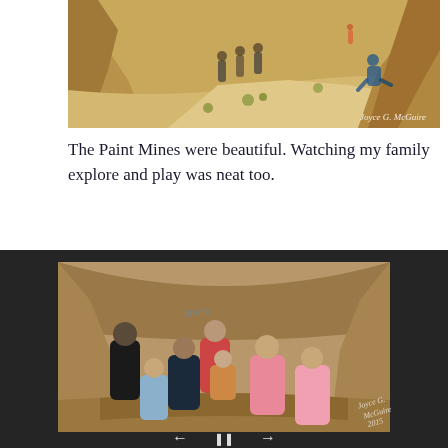[Figure (photo): Outdoor photo of people walking through a sandy canyon trail at Paint Mines. Pale sandstone formations with yellow wildflowers visible. A person sits on a rock formation to the right. Watermark: Joyce G. McGuire.]
The Paint Mines were beautiful. Watching my family explore and play was neat too.
[Figure (photo): Group family photo inside a cave alcove at Paint Mines. Seven people including children and adults sitting and standing in a sandstone cave. Graffiti visible on cave wall behind them. Watermark: Joyce G. McGuire 2015. Navigation arrows visible at bottom.]